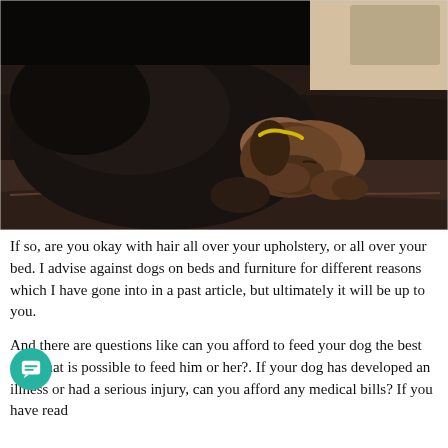[Figure (photo): A black and brown dog sleeping curled up on a dark brown leather sofa/couch. A dog bed is visible in the background on a wooden floor.]
If so, are you okay with hair all over your upholstery, or all over your bed. I advise against dogs on beds and furniture for different reasons which I have gone into in a past article, but ultimately it will be up to you.
And there are questions like can you afford to feed your dog the best food that is possible to feed him or her?. If your dog has developed an illness or had a serious injury, can you afford any medical bills? If you have read